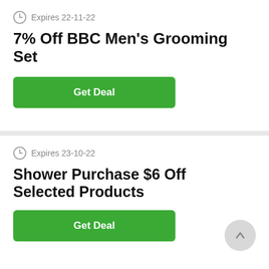Expires 22-11-22
7% Off BBC Men's Grooming Set
Get Deal
Expires 23-10-22
Shower Purchase $6 Off Selected Products
Get Deal